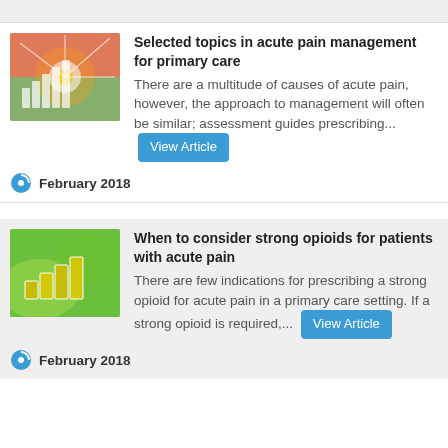[Figure (illustration): Colorful abstract medical illustration with DNA helix and light burst, red and green colors]
Selected topics in acute pain management for primary care
There are a multitude of causes of acute pain, however, the approach to management will often be similar; assessment guides prescribing... View Article
February 2018
[Figure (photo): Green nature background with abstract staircase shape overlay in yellow/gold geometric style]
When to consider strong opioids for patients with acute pain
There are few indications for prescribing a strong opioid for acute pain in a primary care setting. If a strong opioid is required,... View Article
February 2018